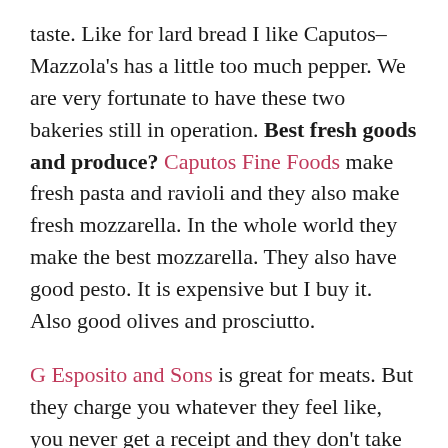taste. Like for lard bread I like Caputos–Mazzola's has a little too much pepper. We are very fortunate to have these two bakeries still in operation. Best fresh goods and produce? Caputos Fine Foods make fresh pasta and ravioli and they also make fresh mozzarella. In the whole world they make the best mozzarella. They also have good pesto. It is expensive but I buy it. Also good olives and prosciutto.
G Esposito and Sons is great for meats. But they charge you whatever they feel like, you never get a receipt and they don't take cards–it is cash only. It all depends on who you get and that is what you pay. The prices are always round, they round it up. I get a little perturbed because, wow, $45 for some meat and a couple of sausage links? I am considering just getting my meats and stuff from